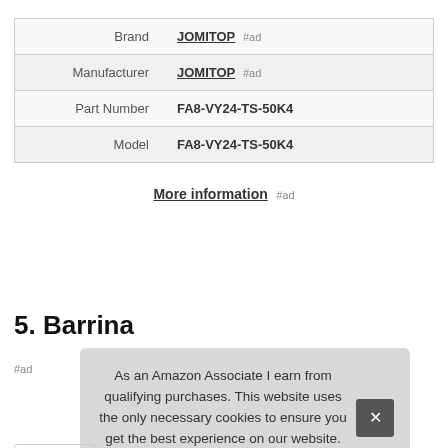|  |  |
| --- | --- |
| Brand | JOMITOP #ad |
| Manufacturer | JOMITOP #ad |
| Part Number | FA8-VY24-TS-50K4 |
| Model | FA8-VY24-TS-50K4 |
More information #ad
5. Barrina
#ad
As an Amazon Associate I earn from qualifying purchases. This website uses the only necessary cookies to ensure you get the best experience on our website. More information